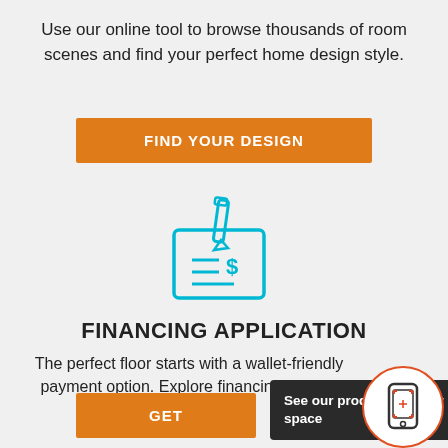Use our online tool to browse thousands of room scenes and find your perfect home design style.
[Figure (infographic): Orange button labeled FIND YOUR DESIGN]
[Figure (illustration): Cyan/teal icon of a check/document with a pen and dollar sign]
FINANCING APPLICATION
The perfect floor starts with a wallet-friendly payment option. Explore financing options today.
[Figure (infographic): Orange button labeled GET (partially visible), dark tooltip box saying See our products in your space, phone icon in red-bordered circle]